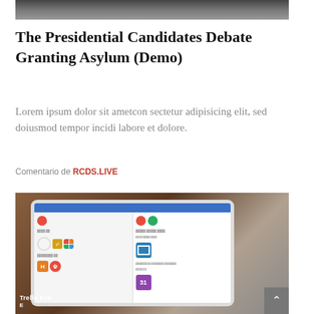[Figure (photo): Top cropped photo, partially visible, dark tones]
The Presidential Candidates Debate Granting Asylum (Demo)
Lorem ipsum dolor sit ametcon sectetur adipisicing elit, sed doiusmod tempor incidi labore et dolore.
Comentario de RCDS.LIVE
[Figure (photo): Photo of a tablet device showing the Trello app interface with colorful app icons on screen. Text 'Trello Eve...' visible at bottom left.]